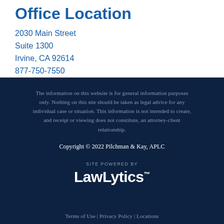Office Location
2030 Main Street
Suite 1300
Irvine, CA 92614
877-750-7550
The information on this website is for general information purposes only. Nothing on this site should be taken as legal advice for any individual case or situation. This information is not intended to create, and receipt or viewing does not constitute, an attorney-client relationship.
Copyright © 2022 Pilchman & Kay, APLC
[Figure (logo): LawLytics logo with 'SITE POWERED BY' label above]
Terms of Use | Privacy Policy | Locations